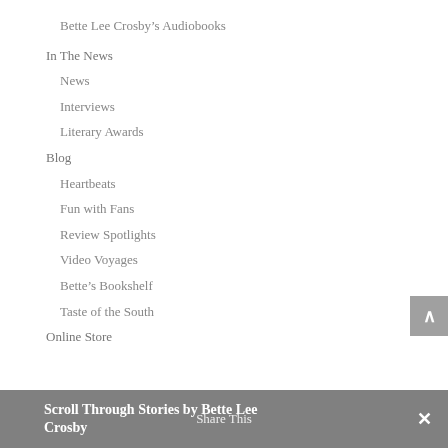Bette Lee Crosby's Audiobooks
In The News
News
Interviews
Literary Awards
Blog
Heartbeats
Fun with Fans
Review Spotlights
Video Voyages
Bette's Bookshelf
Taste of the South
Online Store
Scroll Through Stories by Bette Lee Crosby    Share This    ×